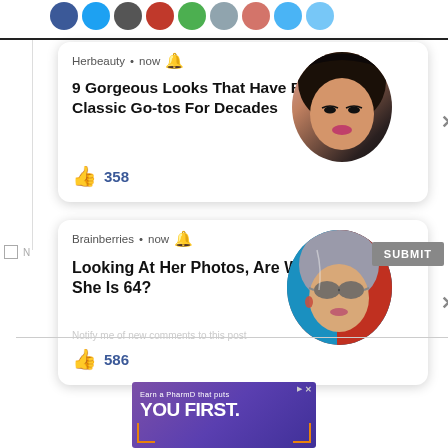[Figure (screenshot): Screenshot of a webpage showing two Facebook-style push notification cards from 'Herbeauty' and 'Brainberries', overlaid on a webpage. First card: 'Herbeauty • now' with bell icon, title '9 Gorgeous Looks That Have Been Classic Go-tos For Decades', thumbs up and 358 likes, with a circular portrait of an Asian woman. Second card: 'Brainberries • now' with bell icon, title 'Looking At Her Photos, Are We Sure She Is 64?', thumbs up and 586 likes, with a circular portrait of an older woman with sunglasses. Below the cards is a SUBMIT button and a 'Notify me of new comments to this post' checkbox. At the bottom is an advertisement: 'Earn a PharmD that puts YOU FIRST.']
Herbeauty • now
9 Gorgeous Looks That Have Been Classic Go-tos For Decades
358
Brainberries • now
Looking At Her Photos, Are We Sure She Is 64?
586
Notify me of new comments to this post
SUBMIT
[Figure (screenshot): Advertisement banner: 'Earn a PharmD that puts YOU FIRST.' on purple background with orange bracket decorations]